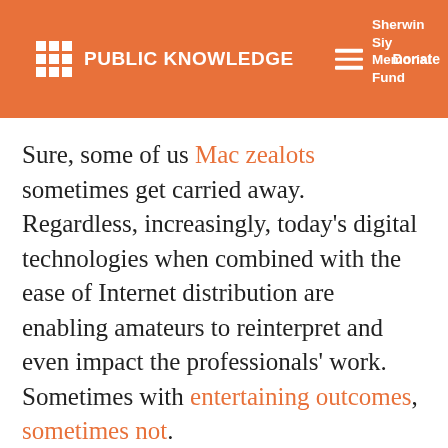PUBLIC KNOWLEDGE | Sherwin Siy Memorial Fund | Donate
Sure, some of us Mac zealots sometimes get carried away. Regardless, increasingly, today's digital technologies when combined with the ease of Internet distribution are enabling amateurs to reinterpret and even impact the professionals' work. Sometimes with entertaining outcomes, sometimes not.
Hopefully, as this trend continues, professional content creators will have enough forethought to permit fans to